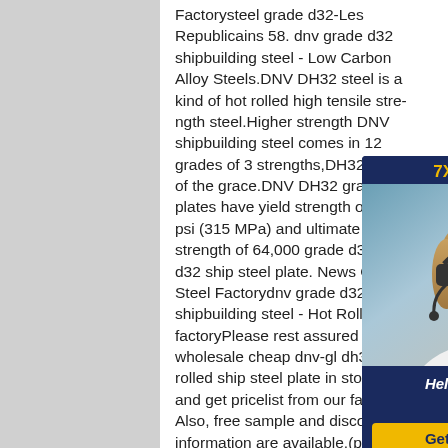Factorysteel grade d32-Les Republicains 58. dnv grade d32 shipbuilding steel - Low Carbon Alloy Steels.DNV DH32 steel is a kind of hot rolled high tensile strength steel.Higher strength DNV shipbuilding steel comes in 12 grades of 3 strengths,DH32 is one of the grade.DNV DH32 grade steel plates have yield strength of 45,500 psi (315 MPa) and ultimate tensile strength of 64,000 grade d32 nv d32 ship steel plate. News Carbon Steel Factorydnv grade d32 shipbuilding steel - Hot Rolled Steel factoryPlease rest assured to wholesale cheap dnv-gl dh32 hot rolled ship steel plate in stock here and get pricelist from our factory. Also, free sample and discount information are available.(plate) DH32,NV D32 |DNV Grade DH32,DNV
[Figure (other): Customer service chat widget with '7X24 Online' header, photo of a woman with a headset, text 'Hello,may I help you?' and a yellow 'Get Latest Price' button on a dark navy blue background.]